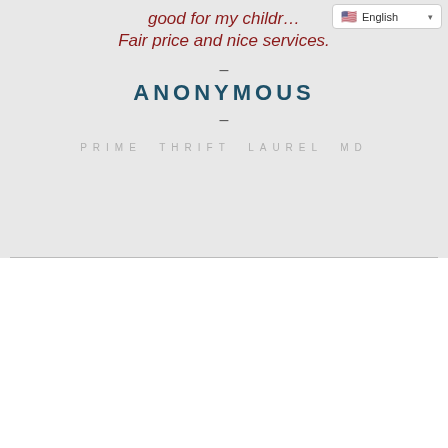[Figure (screenshot): Language selector widget showing English flag and dropdown arrow]
good for my childr... Fair price and nice services.
–
ANONYMOUS
–
PRIME THRIFT LAUREL MD